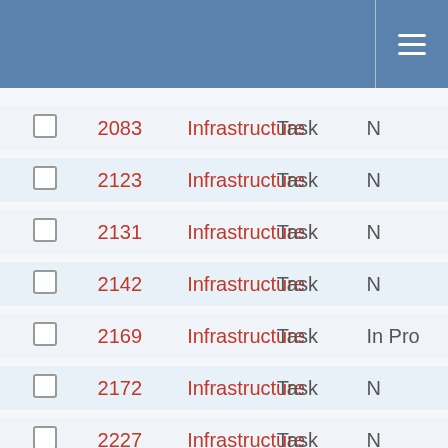|  | ID | Category | Type | Status |
| --- | --- | --- | --- | --- |
| ☐ | 2083 | Infrastructure | Task | N |
| ☐ | 2123 | Infrastructure | Task | N |
| ☐ | 2131 | Infrastructure | Task | N |
| ☐ | 2142 | Infrastructure | Task | N |
| ☐ | 2169 | Infrastructure | Task | In Pro |
| ☐ | 2172 | Infrastructure | Task | N |
| ☐ | 2227 | Infrastructure | Task | N |
| ☐ | 2286 | Infrastructure | Task | N |